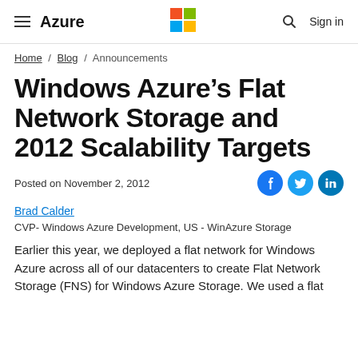Azure
Home / Blog / Announcements
Windows Azure’s Flat Network Storage and 2012 Scalability Targets
Posted on November 2, 2012
Brad Calder
CVP- Windows Azure Development, US - WinAzure Storage
Earlier this year, we deployed a flat network for Windows Azure across all of our datacenters to create Flat Network Storage (FNS) for Windows Azure Storage. We used a flat